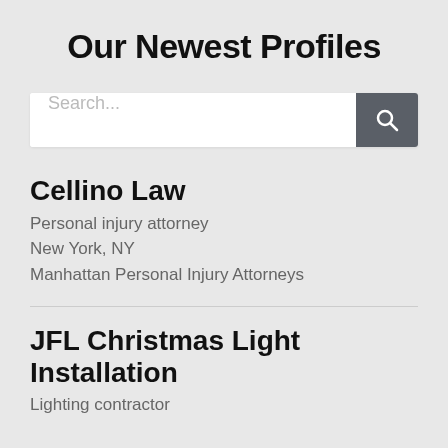Our Newest Profiles
[Figure (screenshot): Search bar with placeholder text 'Search...' and a dark grey search button with magnifying glass icon]
Cellino Law
Personal injury attorney
New York, NY
Manhattan Personal Injury Attorneys
JFL Christmas Light Installation
Lighting contractor